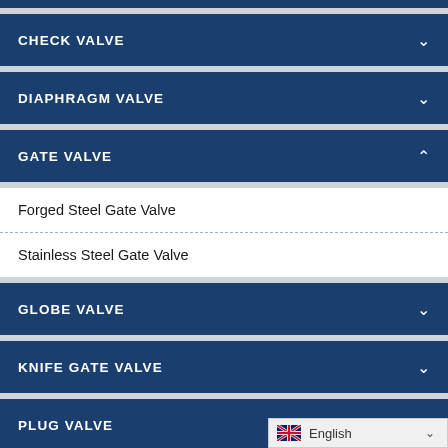CHECK VALVE
DIAPHRAGM VALVE
GATE VALVE (expanded)
Forged Steel Gate Valve
Stainless Steel Gate Valve
GLOBE VALVE
KNIFE GATE VALVE
PLUG VALVE
PTFE LINED PIPE FITTINGS
English